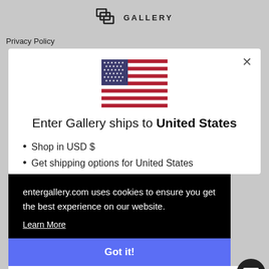[Figure (logo): Enter Gallery logo with stylized E/G icon and GALLERY text]
Privacy Policy
[Figure (illustration): US flag SVG illustration]
Enter Gallery ships to United States
Shop in USD $
Get shipping options for United States
entergallery.com uses cookies to ensure you get the best experience on our website.
Learn More
Got it!
[Figure (logo): Payment method logos: AMEX, Apple Pay, Diners, Discover, Google Pay, Mastercard]